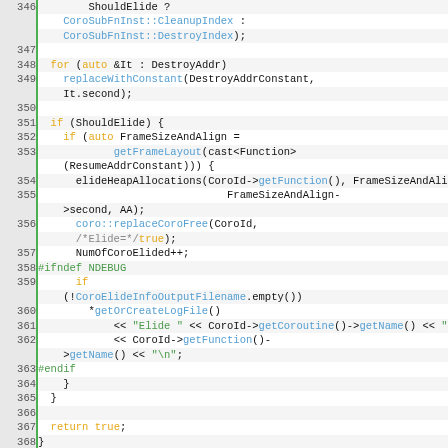[Figure (screenshot): Source code viewer showing C++ code lines 346-370, with syntax highlighting. Line numbers in grey left column with green border, code in white area. Keywords in orange/yellow, function names in blue, preprocessor directives in green, string literals in green.]